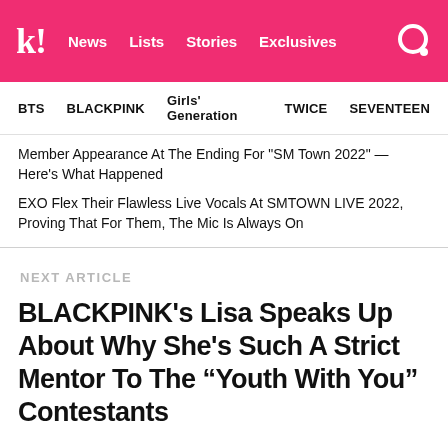k! News Lists Stories Exclusives
BTS   BLACKPINK   Girls' Generation   TWICE   SEVENTEEN
Member Appearance At The Ending For "SM Town 2022" — Here's What Happened
EXO Flex Their Flawless Live Vocals At SMTOWN LIVE 2022, Proving That For Them, The Mic Is Always On
NEXT ARTICLE
BLACKPINK's Lisa Speaks Up About Why She's Such A Strict Mentor To The “Youth With You” Contestants